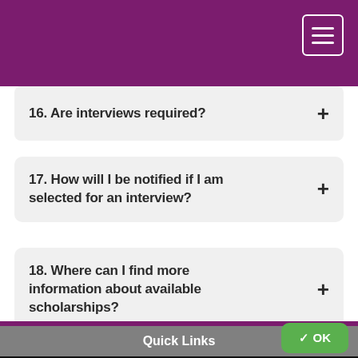16. Are interviews required?
17. How will I be notified if I am selected for an interview?
18. Where can I find more information about available scholarships?
Quick Links
This website uses cookies to ensure you get the best experience on our website. Learn more